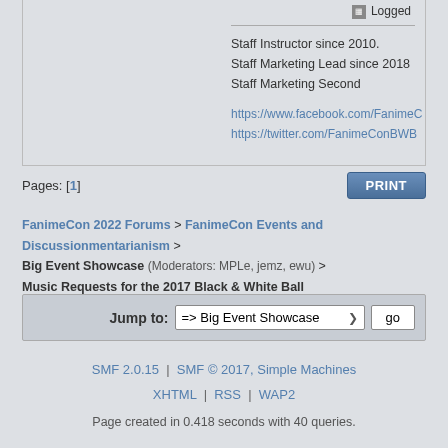Logged
Staff Instructor since 2010.
Staff Marketing Lead since 2018
Staff Marketing Second
https://www.facebook.com/FanimeC
https://twitter.com/FanimeConBWB
Pages: [1]
FanimeCon 2022 Forums > FanimeCon Events and Discussionmentarianism > Big Event Showcase (Moderators: MPLe, jemz, ewu) > Music Requests for the 2017 Black & White Ball
Jump to: => Big Event Showcase  go
SMF 2.0.15 | SMF © 2017, Simple Machines
XHTML | RSS | WAP2
Page created in 0.418 seconds with 40 queries.